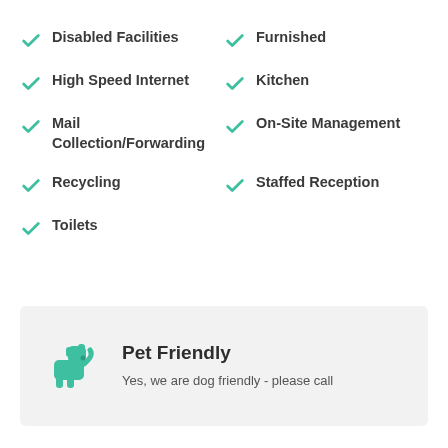Disabled Facilities
Furnished
High Speed Internet
Kitchen
Mail Collection/Forwarding
On-Site Management
Recycling
Staffed Reception
Toilets
Pet Friendly
Yes, we are dog friendly - please call